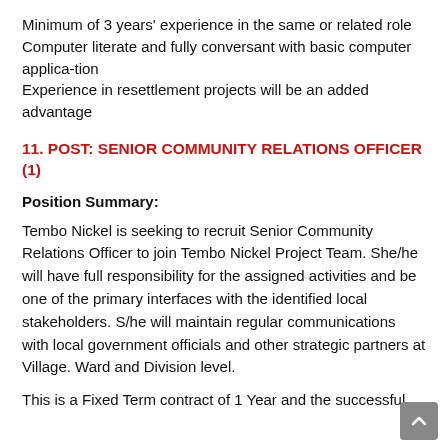Minimum of 3 years' experience in the same or related role
Computer literate and fully conversant with basic computer applica-tion
Experience in resettlement projects will be an added advantage
11. POST: SENIOR COMMUNITY RELATIONS OFFICER (1)
Position Summary:
Tembo Nickel is seeking to recruit Senior Community Relations Officer to join Tembo Nickel Project Team. She/he will have full responsibility for the assigned activities and be one of the primary interfaces with the identified local stakeholders. S/he will maintain regular communications with local government officials and other strategic partners at Village. Ward and Division level.
This is a Fixed Term contract of 1 Year and the successful